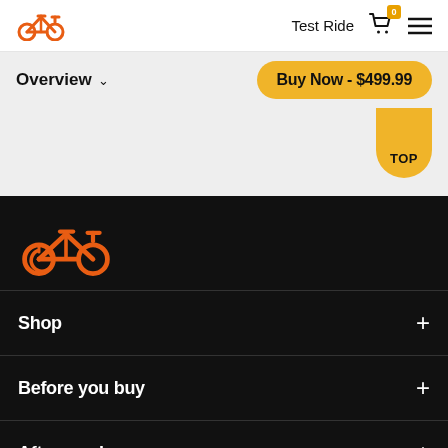Test Ride  [cart icon]  [menu icon]
Overview ∨
Buy Now - $499.99
TOP
[Figure (logo): Orange bicycle logo (footer)]
Shop +
Before you buy +
After you buy +